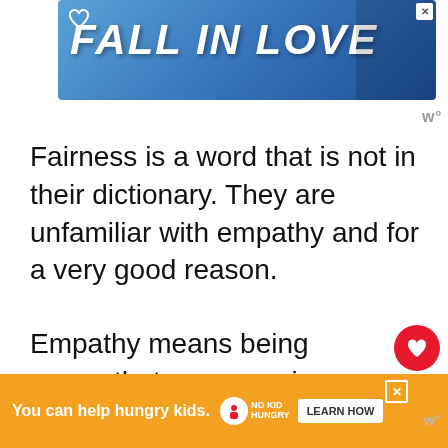[Figure (screenshot): Top advertisement banner with blue gradient background and 'FALL IN LOVE' text in large italic white bold font, with a heart icon and dog image]
Fairness is a word that is not in their dictionary. They are unfamiliar with empathy and for a very good reason.
Empathy means being aware that everyone is equally deserving of happiness. For narcissists and psychopaths, this is not the case
[Figure (infographic): Red circular like button with heart icon, count of 22, and a share button below it]
[Figure (screenshot): What's Next panel: thumbnail image and text '5 Things That Happen Whe...']
The only thing they care about is getting w
[Figure (screenshot): Bottom advertisement banner in orange with 'You can help hungry kids.' text, No Kid Hungry logo, and LEARN HOW button]